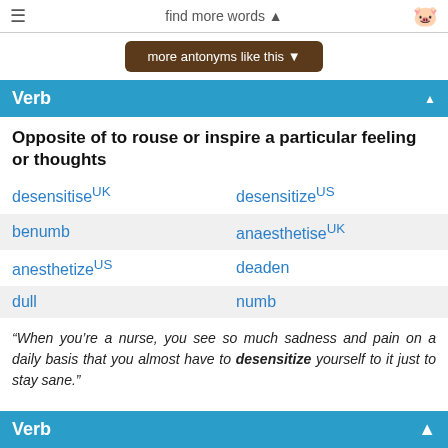find more words ▲
more antonyms like this ▼
Verb
Opposite of to rouse or inspire a particular feeling or thoughts
desensitise (UK)
desensitize (US)
benumb
anaesthetise (UK)
anesthetize (US)
deaden
dull
numb
“When you’re a nurse, you see so much sadness and pain on a daily basis that you almost have to desensitize yourself to it just to stay sane.”
Verb